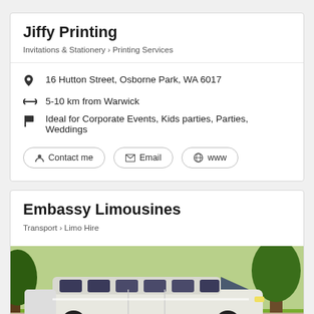Jiffy Printing
Invitations & Stationery › Printing Services
16 Hutton Street, Osborne Park, WA 6017
5-10 km from Warwick
Ideal for Corporate Events, Kids parties, Parties, Weddings
Contact me | Email | www
Embassy Limousines
Transport › Limo Hire
[Figure (photo): White stretch limousine parked outdoors with green lawn and trees in background]